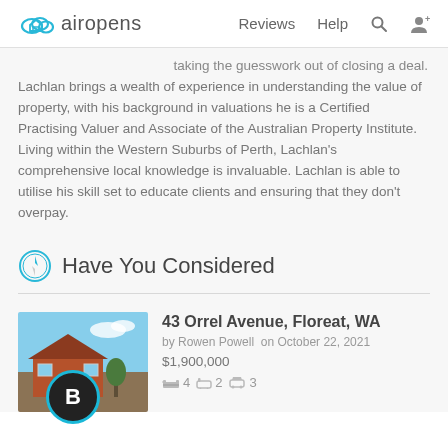airopens  Reviews  Help
taking the guesswork out of closing a deal.
Lachlan brings a wealth of experience in understanding the value of property, with his background in valuations he is a Certified Practising Valuer and Associate of the Australian Property Institute. Living within the Western Suburbs of Perth, Lachlan's comprehensive local knowledge is invaluable. Lachlan is able to utilise his skill set to educate clients and ensuring that they don't overpay.
Have You Considered
43 Orrel Avenue, Floreat, WA
by Rowen Powell  on October 22, 2021
$1,900,000
4  2  3
[Figure (photo): Property photo of a house with red brick and blue sky, with a circular avatar overlay showing the letter B with a teal border.]